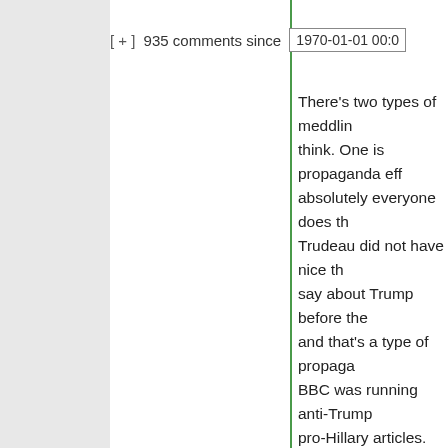[ + ] 935 comments since 1970-01-01 00:0
There's two types of meddling I think. One is propaganda efforts, which absolutely everyone does this. Trudeau did not have nice things to say about Trump before the election, and that's a type of propaganda. BBC was running anti-Trump, pro-Hillary articles. This sort of behavior is part and parcel of living in an interconnected world. You can't outlaw propaganda without outlawing free speech, and I don't think we're going to do that.
The other part would be hacking, yes, and obviously that shou